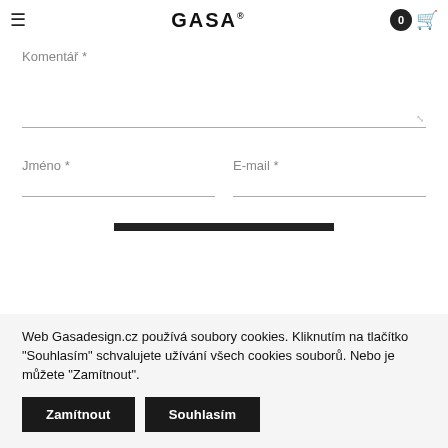GASA
Komentář *
Jméno *
E-mail *
Web Gasadesign.cz používá soubory cookies. Kliknutím na tlačítko "Souhlasím" schvalujete užívání všech cookies souborů. Nebo je můžete "Zamítnout".
Zamítnout
Souhlasím